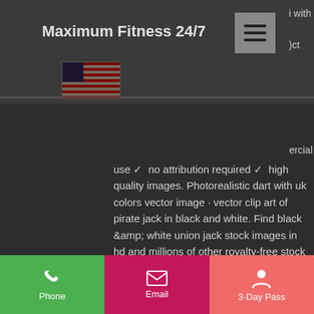Maximum Fitness 24/7
[Figure (photo): American flag image (aged/vintage style) displayed in the header area]
use ✓  no attribution required ✓  high quality images. Photorealistic dart with uk colors vector image · vector clip art of pirate jack in black and white. Find black &amp; white union jack stock images in hd and millions of other royalty-free stock photos, illustrations and vectors in the shutterstock collection. Black and white union jack flag 5' x 3' uj uk flags - eur 9,41. À vendre! the world of flags. Union jack flag flying in a blue sky. Union jack flag bunting print by sally anscombe. Union jack flag bunting. This is a premium quality product, the image will be bonded to
Phone  Email  3-Day Pass